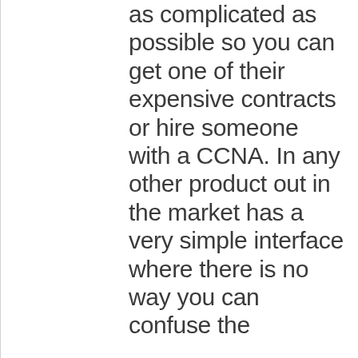as complicated as possible so you can get one of their expensive contracts or hire someone with a CCNA. In any other product out in the market has a very simple interface where there is no way you can confuse the